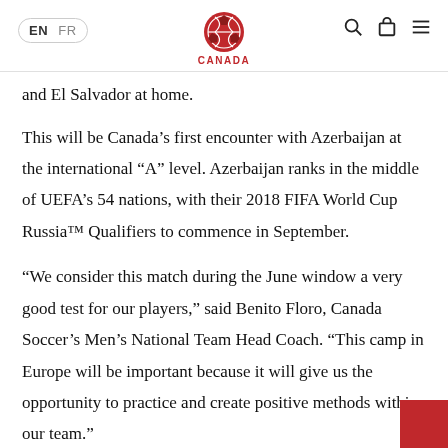EN FR [Canada Soccer logo] [search] [bag] [menu]
and El Salvador at home.
This will be Canada's first encounter with Azerbaijan at the international “A” level. Azerbaijan ranks in the middle of UEFA’s 54 nations, with their 2018 FIFA World Cup Russia™ Qualifiers to commence in September.
“We consider this match during the June window a very good test for our players,” said Benito Floro, Canada Soccer’s Men’s National Team Head Coach. “This camp in Europe will be important because it will give us the opportunity to practice and create positive methods within our team.”